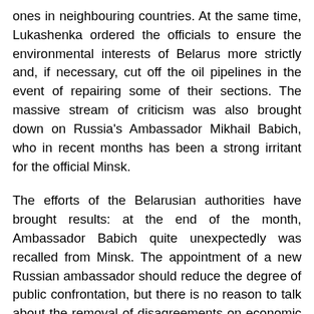ones in neighbouring countries. At the same time, Lukashenka ordered the officials to ensure the environmental interests of Belarus more strictly and, if necessary, cut off the oil pipelines in the event of repairing some of their sections. The massive stream of criticism was also brought down on Russia's Ambassador Mikhail Babich, who in recent months has been a strong irritant for the official Minsk.
The efforts of the Belarusian authorities have brought results: at the end of the month, Ambassador Babich quite unexpectedly was recalled from Minsk. The appointment of a new Russian ambassador should reduce the degree of public confrontation, but there is no reason to talk about the removal of disagreements on economic issues. Negotiations on gas prices since 2020, judging by the lack of optimistic statements, do not have any particular result. The question of Belarus' receiving compensation for losses from the tax manoeuvre in the oil